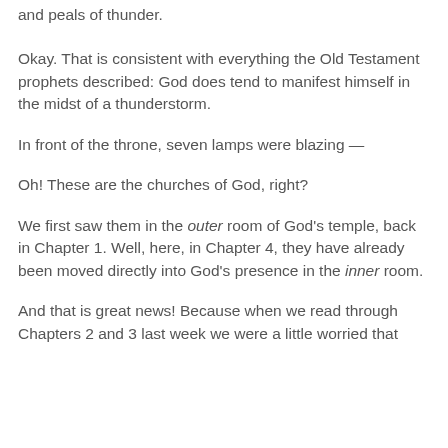and peals of thunder.
Okay. That is consistent with everything the Old Testament prophets described: God does tend to manifest himself in the midst of a thunderstorm.
In front of the throne, seven lamps were blazing —
Oh! These are the churches of God, right?
We first saw them in the outer room of God's temple, back in Chapter 1. Well, here, in Chapter 4, they have already been moved directly into God's presence in the inner room.
And that is great news! Because when we read through Chapters 2 and 3 last week we were a little worried that